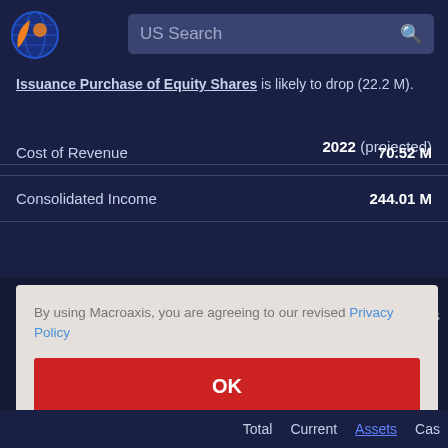[Figure (logo): Macroaxis globe logo with orange and blue colors]
US Search
Issuance Purchase of Equity Shares is likely to drop (22.2 M).
|  | 2022 (projected) |
| --- | --- |
| Cost of Revenue | 70.52 M |
| Consolidated Income | 244.01 M |
By using Macroaxis, you are agreeing to our revised Privacy Policy
Total  Current  Assets  Cas